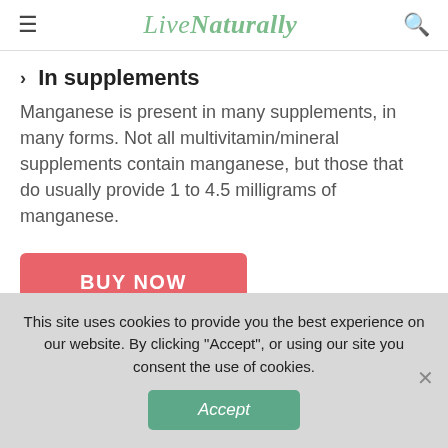LiveNaturally
In supplements
Manganese is present in many supplements, in many forms. Not all multivitamin/mineral supplements contain manganese, but those that do usually provide 1 to 4.5 milligrams of manganese.
[Figure (other): BUY NOW button — red/salmon colored rectangular button with white bold text]
Source: National Institutes of Health, Office of Dietary Supplements
This site uses cookies to provide you the best experience on our website. By clicking "Accept", or using our site you consent the use of cookies.